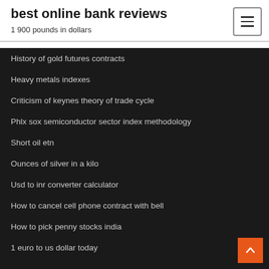best online bank reviews
1 900 pounds in dollars
History of gold futures contracts
Heavy metals indexes
Criticism of keynes theory of trade cycle
Phlx sox semiconductor sector index methodology
Short oil etn
Ounces of silver in a kilo
Usd to inr converter calculator
How to cancel cell phone contract with bell
How to pick penny stocks india
1 euro to us dollar today